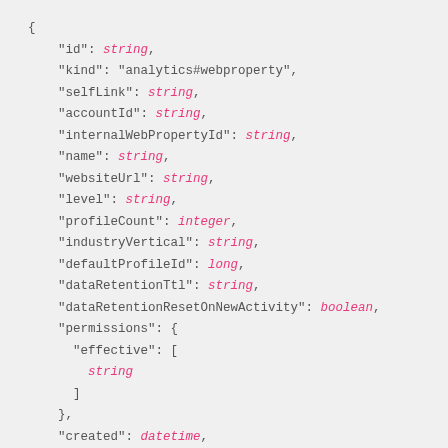{
  "id": string,
  "kind": "analytics#webproperty",
  "selfLink": string,
  "accountId": string,
  "internalWebPropertyId": string,
  "name": string,
  "websiteUrl": string,
  "level": string,
  "profileCount": integer,
  "industryVertical": string,
  "defaultProfileId": long,
  "dataRetentionTtl": string,
  "dataRetentionResetOnNewActivity": boolean,
  "permissions": {
    "effective": [
      string
    ]
  },
  "created": datetime,
  "updated": datetime,